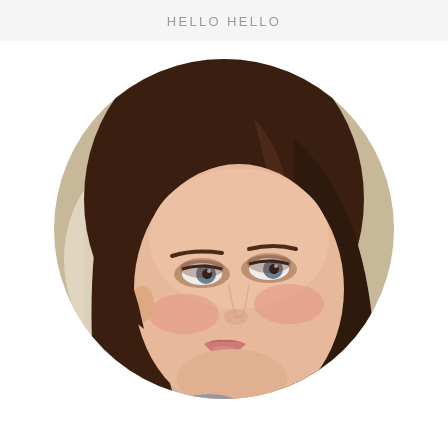HELLO HELLO
[Figure (photo): Circular cropped portrait photo of a young woman with long dark brown hair, wearing makeup with smoky eyes and pink lips, lying down and looking upward with a slight smile. Background shows light-colored bedding.]